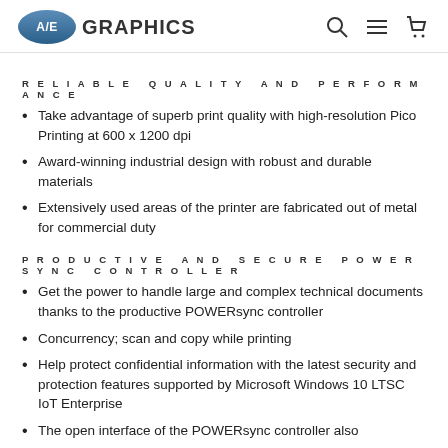A/E GRAPHICS
RELIABLE QUALITY AND PERFORMANCE
Take advantage of superb print quality with high-resolution Pico Printing at 600 x 1200 dpi
Award-winning industrial design with robust and durable materials
Extensively used areas of the printer are fabricated out of metal for commercial duty
PRODUCTIVE AND SECURE POWERSYNC CONTROLLER
Get the power to handle large and complex technical documents thanks to the productive POWERsync controller
Concurrency; scan and copy while printing
Help protect confidential information with the latest security and protection features supported by Microsoft Windows 10 LTSC IoT Enterprise
The open interface of the POWERsync controller also